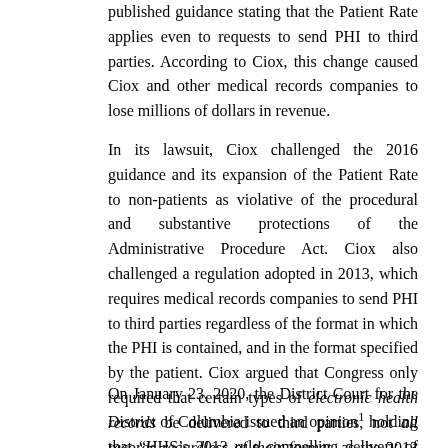published guidance stating that the Patient Rate applies even to requests to send PHI to third parties. According to Ciox, this change caused Ciox and other medical records companies to lose millions of dollars in revenue.
In its lawsuit, Ciox challenged the 2016 guidance and its expansion of the Patient Rate to non-patients as violative of the procedural and substantive protections of the Administrative Procedure Act. Ciox also challenged a regulation adopted in 2013, which requires medical records companies to send PHI to third parties regardless of the format in which the PHI is contained, and in the format specified by the patient. Ciox argued that Congress only required that certain types of electronic health records be delivered to third parties, not all records regardless of their format, as the 2013 rule requires.
On January 23, 2020, the District Court for the District of Columbia issued an opinion¹ holding that “HHS’s 2013 rule compelling delivery of PHI to third parties regardless